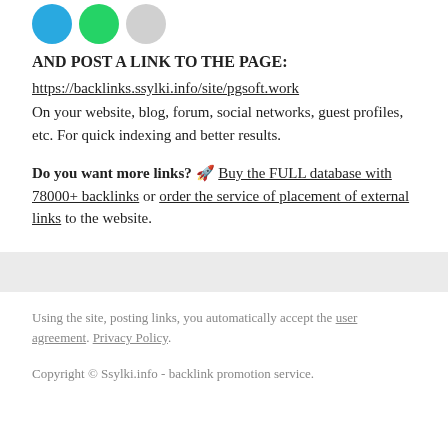[Figure (illustration): Three circular social share icons at top: blue (Twitter), green (WhatsApp/Telegram), and gray, partially cropped at top of page.]
AND POST A LINK TO THE PAGE:
https://backlinks.ssylki.info/site/pgsoft.work
On your website, blog, forum, social networks, guest profiles, etc. For quick indexing and better results.
Do you want more links? 🚀 Buy the FULL database with 78000+ backlinks or order the service of placement of external links to the website.
Using the site, posting links, you automatically accept the user agreement. Privacy Policy.

Copyright © Ssylki.info - backlink promotion service.